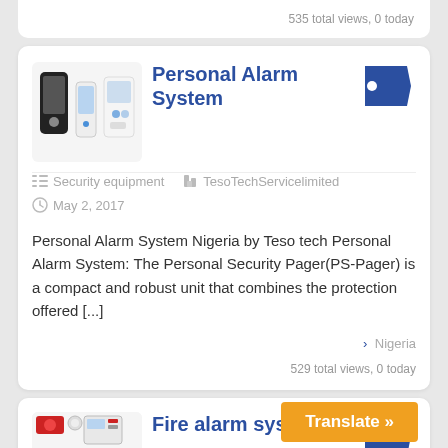535 total views, 0 today
Personal Alarm System
[Figure (photo): Personal alarm system devices including a key fob, a smartphone-like device, and a remote control unit]
[Figure (logo): Blue tag/price-tag icon]
Security equipment   TesoTechServicelimited
May 2, 2017
Personal Alarm System Nigeria by Teso tech Personal Alarm System: The Personal Security Pager(PS-Pager) is a compact and robust unit that combines the protection offered [...]
> Nigeria
529 total views, 0 today
Fire alarm systems
[Figure (photo): Fire alarm system components including red fire alarms, control panel, smoke detectors, and fire extinguishers with Fire Safety Systems label]
[Figure (logo): Blue tag/price-tag icon]
Security equipment   TesoTe...
Translate »